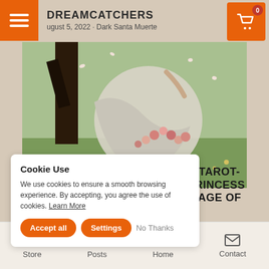DREAMCATCHERS · August 5, 2022 · Dark Santa Muerte
[Figure (photo): Painting of a woman in a white flowing dress with a floral garland, standing in a garden with a dark tree in background, petals falling]
Cookie Use
We use cookies to ensure a smooth browsing experience. By accepting, you agree the use of cookies. Learn More
H TAROT-PRINCESS -PAGE OF
Store  Posts  Home  Contact